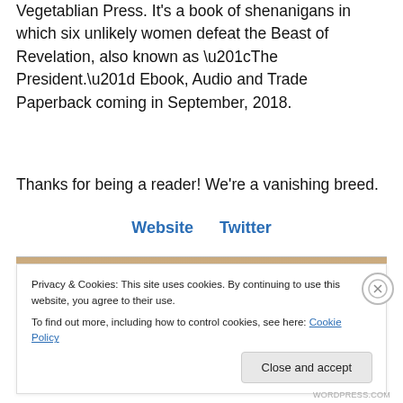Vegetablian Press. It's a book of shenanigans in which six unlikely women defeat the Beast of Revelation, also known as “The President.” Ebook, Audio and Trade Paperback coming in September, 2018.
Thanks for being a reader! We’re a vanishing breed.
Website   Twitter
[Figure (photo): Partial view of a photo strip at the top of the cookie banner area]
Privacy & Cookies: This site uses cookies. By continuing to use this website, you agree to their use.
To find out more, including how to control cookies, see here: Cookie Policy
Close and accept